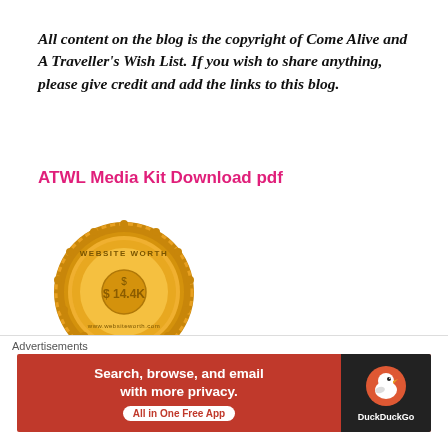All content on the blog is the copyright of Come Alive and A Traveller's Wish List. If you wish to share anything, please give credit and add the links to this blog.
ATWL Media Kit Download pdf
[Figure (illustration): Gold coin/seal badge showing 'WEBSITE WORTH $ 14.4K' in gold and dark yellow tones, with decorative scalloped border]
[Figure (illustration): Close (X) button circle icon]
Advertisements
[Figure (screenshot): DuckDuckGo advertisement banner: red background with white bold text 'Search, browse, and email with more privacy.' and 'All in One Free App' button, with DuckDuckGo duck logo on dark right panel]